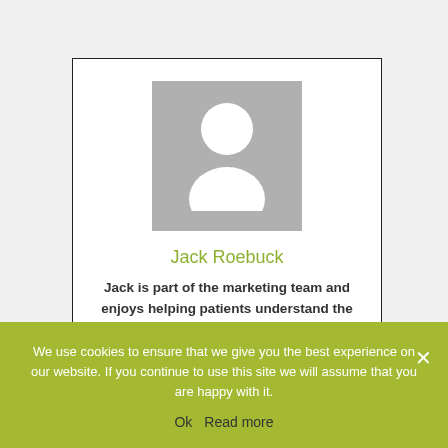[Figure (illustration): Placeholder person silhouette avatar — grey square with white head/body shape]
Jack Roebuck
Jack is part of the marketing team and enjoys helping patients understand the treatments offered at Openhealth and the positive effect that Osteopathy &
We use cookies to ensure that we give you the best experience on our website. If you continue to use this site we will assume that you are happy with it.
Ok   Read more